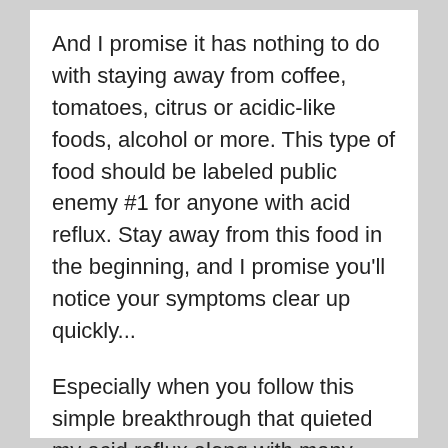And I promise it has nothing to do with staying away from coffee, tomatoes, citrus or acidic-like foods, alcohol or more. This type of food should be labeled public enemy #1 for anyone with acid reflux. Stay away from this food in the beginning, and I promise you'll notice your symptoms clear up quickly...
Especially when you follow this simple breakthrough that quieted my acid reflux along with many others who've read this letter.